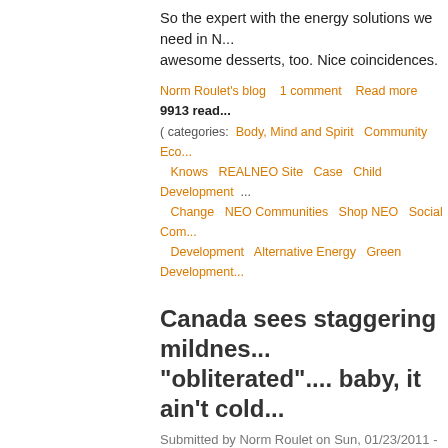So the expert with the energy solutions we need in N... awesome desserts, too. Nice coincidences.
Norm Roulet's blog   1 comment   Read more   9913 read... ( categories: Body, Mind and Spirit  Community  Eco... Knows  REALNEO Site  Case  Child Development ... Change  NEO Communities  Shop NEO  Social Com... Development  Alternative Energy  Green Development...
Canada sees staggering mildnes... "obliterated".... baby, it ain't cold...
Submitted by Norm Roulet on Sun, 01/23/2011 - 13:59.
[Figure (photo): Temperature anomalies image placeholder]
Joe Romm reports extremely bad climate news on C... baby, it ain't cold outside! Canada sees staggering m... Progress - January 23, 2011
Surface temperature anomalies for the period... warmth across the Canadian Arctic....
The largest anomalies here exceed 21°C (37.8... for an entire month.